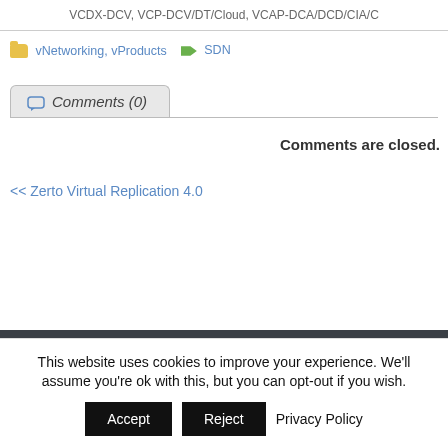VCDX-DCV, VCP-DCV/DT/Cloud, VCAP-DCA/DCD/CIA/C
vNetworking, vProducts   SDN
Comments (0)
Comments are closed.
<< Zerto Virtual Replication 4.0
© 2022-2011 vInfrastructure Blog
This website uses cookies to improve your experience. We'll assume you're ok with this, but you can opt-out if you wish. Accept Reject Privacy Policy